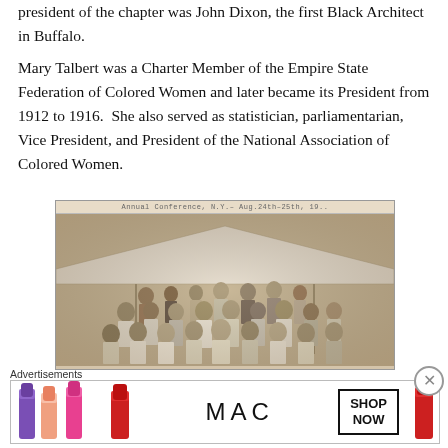president of the chapter was John Dixon, the first Black Architect in Buffalo.
Mary Talbert was a Charter Member of the Empire State Federation of Colored Women and later became its President from 1912 to 1916.  She also served as statistician, parliamentarian, Vice President, and President of the National Association of Colored Women.
[Figure (photo): A sepia-toned historical group photograph taken under a tent canopy, with a caption at the top reading 'Annual Conference, N.Y. Aug. 24th-25th, 19...' showing a large group of African American men and women posed together outdoors.]
Advertisements
[Figure (photo): MAC cosmetics advertisement banner showing lipsticks (purple, peach, pink, red) on the left side and on the right, text reading 'MAC' in large letters with a box containing 'SHOP NOW'.]